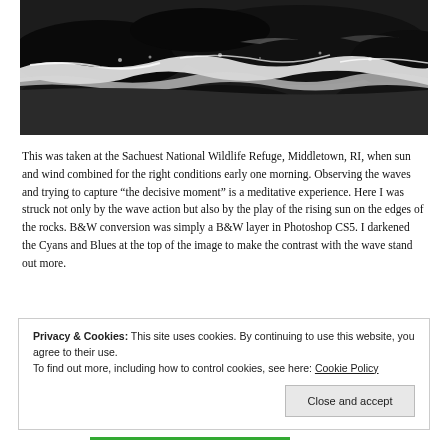[Figure (photo): Black and white photograph of ocean waves crashing over rocks, with dramatic contrast showing white foam against dark rocks and water, taken at Sachuest National Wildlife Refuge.]
This was taken at the Sachuest National Wildlife Refuge, Middletown, RI, when sun and wind combined for the right conditions early one morning. Observing the waves and trying to capture “the decisive moment” is a meditative experience. Here I was struck not only by the wave action but also by the play of the rising sun on the edges of the rocks. B&W conversion was simply a B&W layer in Photoshop CS5. I darkened the Cyans and Blues at the top of the image to make the contrast with the wave stand out more.
Privacy & Cookies: This site uses cookies. By continuing to use this website, you agree to their use.
To find out more, including how to control cookies, see here: Cookie Policy